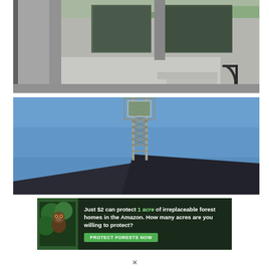[Figure (photo): Exterior view of a concrete brutalist building with large glass windows, concrete walls, steps with black metal handrail, and suburban landscape visible in background]
[Figure (photo): Exterior view of a tall steel lattice observation tower structure rising against a blue sky, with a dark angled roof/wall visible at bottom]
[Figure (infographic): Advertisement banner: 'Just $2 can protect 1 acre of irreplaceable forest homes in the Amazon. How many acres are you willing to protect?' with a green PROTECT FORESTS NOW button and an image of a monkey]